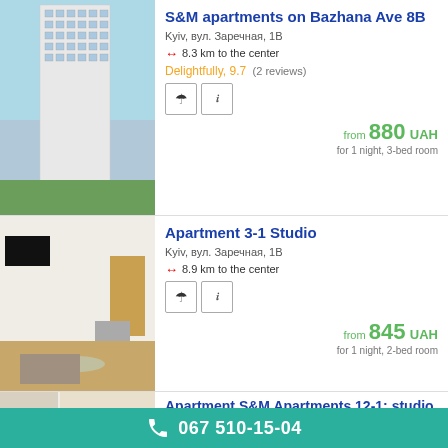S&M apartments on Bazhana Ave 8B
Kyiv, вул. Заречная, 1В
↔ 8.3 km to the center
Delightfully, 9.7  (2 reviews)
from 880 UAH
for 1 night, 3-bed room
Apartment 3-1 Studio
Kyiv, вул. Заречная, 1В
↔ 8.9 km to the center
from 845 UAH
for 1 night, 2-bed room
Apartment S&M Apartments 12-1: studio without balcony on Zarichna Str.
067 510-15-04